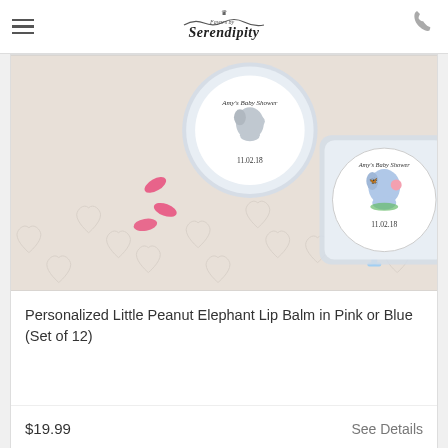Favors by Serendipity
[Figure (photo): Two personalized lip balm containers with elephant-themed labels reading "Amy's Baby Shower 11.02.18" surrounded by colorful decorative beads and pacifiers on a heart-patterned background.]
Personalized Little Peanut Elephant Lip Balm in Pink or Blue (Set of 12)
$19.99
See Details
5.0
(1 review)